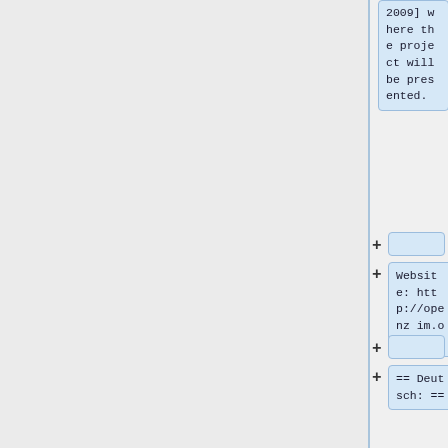2009] where the project will be presented.
+
Website: http://openzim.org
+
== Deutsch: ==
=== Wikipedia Offline: Erstes openZIM Entwicklertreffen :